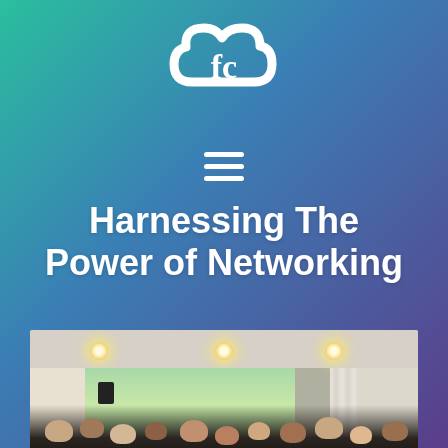[Figure (logo): White cloud-shaped logo with stylized 'fc' letters inside on gradient teal-to-purple background]
[Figure (other): Hamburger menu icon (three horizontal lines) in white]
Harnessing The Power of Networking
[Figure (photo): Indoor networking event photo showing a room full of attendees seated at tables, with a speaker visible, ceiling lights, and an open sliding door revealing a garden outside]